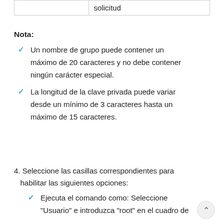|  | solicitud |
| --- | --- |
|  | solicitud |
Nota:
Un nombre de grupo puede contener un máximo de 20 caracteres y no debe contener ningún carácter especial.
La longitud de la clave privada puede variar desde un mínimo de 3 caracteres hasta un máximo de 15 caracteres.
4. Seleccione las casillas correspondientes para habilitar las siguientes opciones:
Ejecuta el comando como: Seleccione "Usuario" e introduzca "root" en el cuadro de